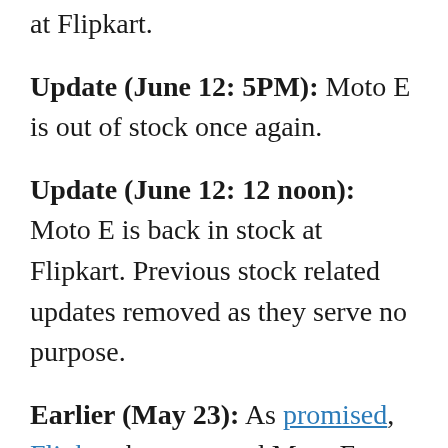at Flipkart.
Update (June 12: 5PM): Moto E is out of stock once again.
Update (June 12: 12 noon): Moto E is back in stock at Flipkart. Previous stock related updates removed as they serve no purpose.
Earlier (May 23): As promised, Flipkart has resumed Moto E sales. The e-retailer has however warned that only a limited stock of 20,000 units is available, so you will have to hurry otherwise who knows how long this stock is going to last.